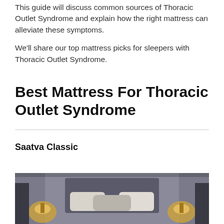This guide will discuss common sources of Thoracic Outlet Syndrome and explain how the right mattress can alleviate these symptoms.
We'll share our top mattress picks for sleepers with Thoracic Outlet Syndrome.
Best Mattress For Thoracic Outlet Syndrome
Saatva Classic
[Figure (photo): Photo of a bedroom setting showing a bed with pillows and lamps on either side, partially cropped at the bottom of the page.]